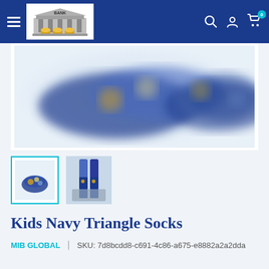Navigation header with hamburger menu, bank logo, search icon, account icon, and cart icon (0 items)
[Figure (photo): Main product photo: pair of navy blue triangle patterned socks with blue/gold geometric print, shown from above on white background]
[Figure (photo): Thumbnail 1 (selected): small navy triangle socks product image]
[Figure (photo): Thumbnail 2: person wearing navy triangle socks standing on reflective surface]
Kids Navy Triangle Socks
MIB GLOBAL  |  SKU: 7d8bcdd8-c691-4c86-a675-e8882a2a2dda